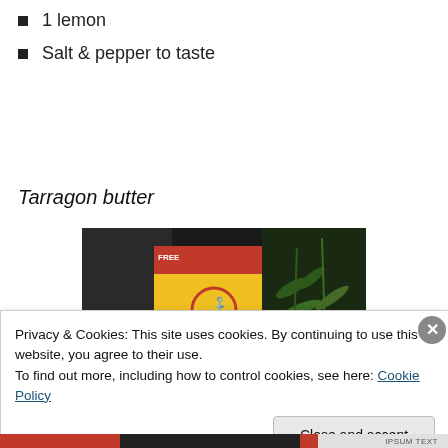1 lemon
Salt & pepper to taste
Tarragon butter
[Figure (photo): Photo of an Anchor brand butter package (yellow and red packaging) next to fresh tarragon herbs on a dark surface]
Privacy & Cookies: This site uses cookies. By continuing to use this website, you agree to their use. To find out more, including how to control cookies, see here: Cookie Policy